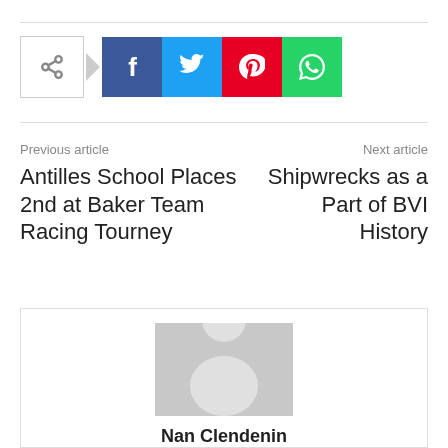[Figure (other): Social share bar with share toggle button (arrow icon), Facebook (f), Twitter (bird), Pinterest (p), WhatsApp (phone) buttons]
Previous article
Antilles School Places 2nd at Baker Team Racing Tourney
Next article
Shipwrecks as a Part of BVI History
[Figure (illustration): Default avatar placeholder: grey rectangle with white silhouette of a person]
Nan Clendenin